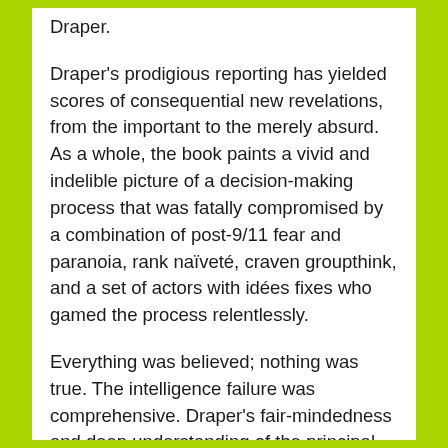Draper.
Draper's prodigious reporting has yielded scores of consequential new revelations, from the important to the merely absurd. As a whole, the book paints a vivid and indelible picture of a decision-making process that was fatally compromised by a combination of post-9/11 fear and paranoia, rank naïveté, craven groupthink, and a set of actors with idées fixes who gamed the process relentlessly.
Everything was believed; nothing was true. The intelligence failure was comprehensive. Draper's fair-mindedness and deep understanding of the principal actors suffuse his account, as does a